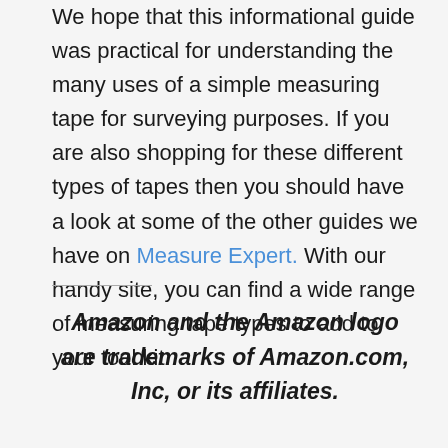We hope that this informational guide was practical for understanding the many uses of a simple measuring tape for surveying purposes. If you are also shopping for these different types of tapes then you should have a look at some of the other guides we have on Measure Expert. With our handy site, you can find a wide range of measuring tape types to add to your tool kit.
Amazon and the Amazon logo are trademarks of Amazon.com, Inc, or its affiliates.